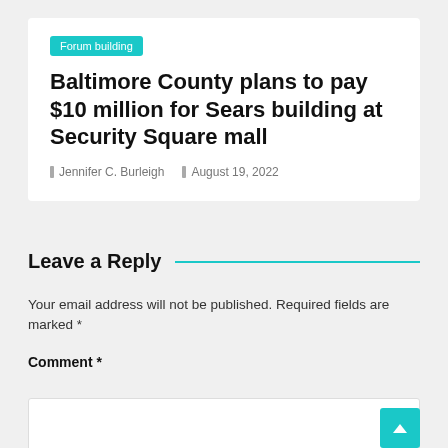Forum building
Baltimore County plans to pay $10 million for Sears building at Security Square mall
Jennifer C. Burleigh   August 19, 2022
Leave a Reply
Your email address will not be published. Required fields are marked *
Comment *